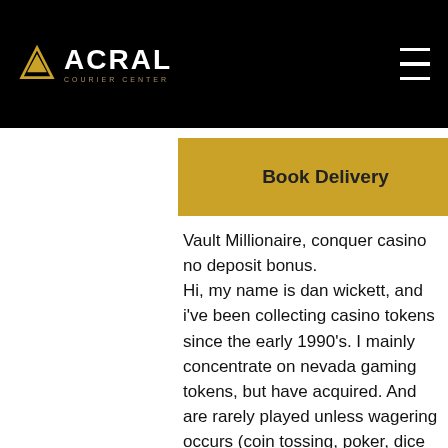ACRAL COURIER CENTER — navigation bar with Book Delivery button
you've
bonus the Mega Vault Millionaire, conquer casino no deposit bonus.
Hi, my name is dan wickett, and i've been collecting casino tokens since the early 1990's. I mainly concentrate on nevada gaming tokens, but have acquired. And are rarely played unless wagering occurs (coin tossing, poker, dice games, lotteries). Get lucky with coin dozer: casino! from the creators of coin dozer comes a fun new coin pusher experience with the thrill of vegas mania! — the wallet with the second-largest holding of shiba inu—worth billions—raised alarms when it began removing coins quickly. Example: expected gain at roulette. At the las vegas roulette (with 38 numbers. 0.00 1 2 3, etc) you can do various bets (